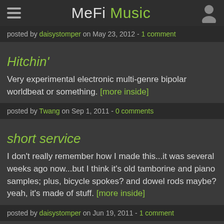MeFi Music
posted by daisystomper on May 23, 2012 - 1 comment
Hitchin'
Very experimental electronic multi-genre bipolar worldbeat or something. [more inside]
posted by Twang on Sep 1, 2011 - 0 comments
short service
I don't really remember how I made this...it was several weeks ago now...but I think it's old tamborine and piano samples; plus, bicycle spokes? and dowel rods maybe? yeah, it's made of stuff. [more inside]
posted by daisystomper on Jun 19, 2011 - 1 comment